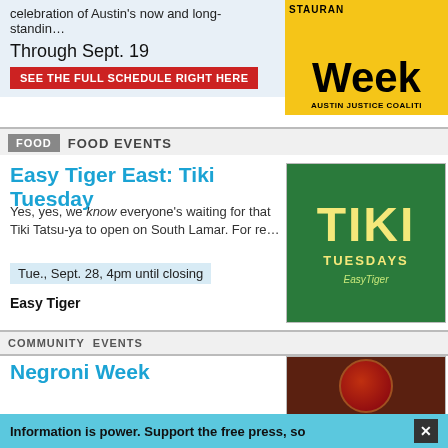celebration of Austin's now and long-standin…
Through Sept. 19
SEE THE FULL SCHEDULE RIGHT HERE
[Figure (other): Reslaurant Week logo with Austin Justice Coalition text on yellow background]
FOOD  FOOD EVENTS
Easy Tiger East: Tiki Tuesday
Yes, yes, we know everyone's waiting for that Tiki Tatsu-ya to open on South Lamar. For re…
Tue., Sept. 28, 4pm until closing
Easy Tiger
[Figure (photo): Tiki Tuesdays promotional image with green background and yellow bamboo lettering]
COMMUNITY  EVENTS
Negroni Week
Enjoy a classic cocktail for a cause during this week, when bartenders all over town whip u…
Through Sept. 19  INFO
Various locations
[Figure (photo): Photo of a Negroni cocktail in a glass with ice and a straw on a bar surface]
Information is power. Support the free press, so